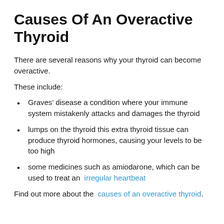Causes Of An Overactive Thyroid
There are several reasons why your thyroid can become overactive.
These include:
Graves’ disease a condition where your immune system mistakenly attacks and damages the thyroid
lumps on the thyroid this extra thyroid tissue can produce thyroid hormones, causing your levels to be too high
some medicines such as amiodarone, which can be used to treat an irregular heartbeat
Find out more about the causes of an overactive thyroid.